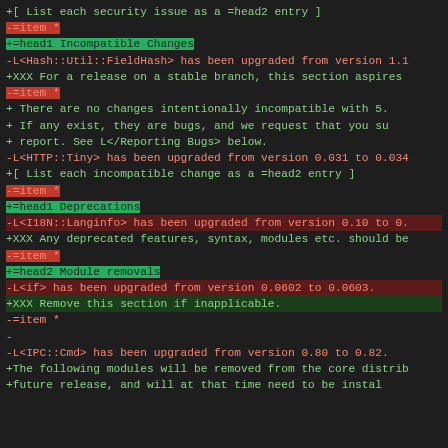diff view of a Perl changelog/pod document showing removed (-) and added (+) lines
+[ List each security issue as a =head2 entry ]
-=item *
+=head1 Incompatible Changes
-L<Hash::Util::FieldHash> has been upgraded from version 1.1
+XXX For a release on a stable branch, this section aspires
-=item *
+    There are no changes intentionally incompatible with 5.
+    If any exist, they are bugs, and we request that you su
+    report.  See L</Reporting Bugs> below.
-L<HTTP::Tiny> has been upgraded from version 0.031 to 0.034
+[ List each incompatible change as a =head2 entry ]
-=item *
+=head1 Deprecations
-L<I18N::Langinfo> has been upgraded from version 0.10 to 0.
+XXX Any deprecated features, syntax, modules etc. should be
-=item *
+=head2 Module removals
-L<if> has been upgraded from version 0.0602 to 0.0603.
+XXX Remove this section if inapplicable.
-=item *
-
-L<IPC::Cmd> has been upgraded from version 0.80 to 0.82.
+The following modules will be removed from the core distrib
+future release, and will at that time need to be instal